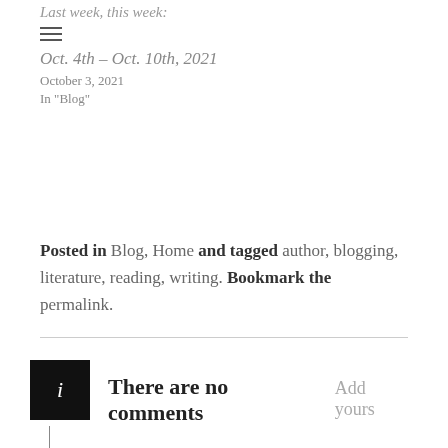Last week, this week:
Oct. 4th – Oct. 10th, 2021
October 3, 2021
In "Blog"
Posted in Blog, Home and tagged author, blogging, literature, reading, writing. Bookmark the permalink.
There are no comments  Add yours
Leave a Reply